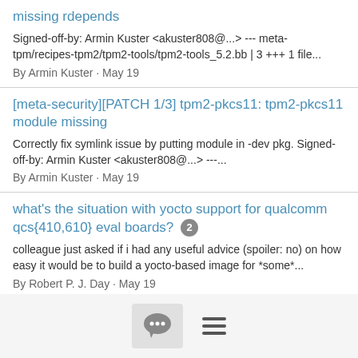missing rdepends
Signed-off-by: Armin Kuster <akuster808@...> --- meta-tpm/recipes-tpm2/tpm2-tools/tpm2-tools_5.2.bb | 3 +++ 1 file...
By Armin Kuster · May 19
[meta-security][PATCH 1/3] tpm2-pkcs11: tpm2-pkcs11 module missing
Correctly fix symlink issue by putting module in -dev pkg. Signed-off-by: Armin Kuster <akuster808@...> ---...
By Armin Kuster · May 19
what's the situation with yocto support for qualcomm qcs{410,610} eval boards? 2
colleague just asked if i had any useful advice (spoiler: no) on how easy it would be to build a yocto-based image for *some*...
By Robert P. J. Day · May 19
[Openembedded-architecture] OpenEmbedded Dev...
[Figure (infographic): Bottom navigation bar with a chat bubble icon button and a hamburger menu icon]